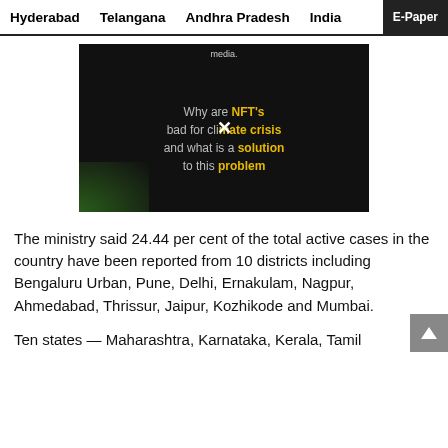Hyderabad  Telangana  Andhra Pradesh  India  E-Paper
[Figure (screenshot): Video thumbnail with dark background showing text: 'Why are NFT's bad for climate crisis and what is a solution to this problem' with yellow and white text, and an X close button overlay. Small text at top reads 'media.']
The ministry said 24.44 per cent of the total active cases in the country have been reported from 10 districts including Bengaluru Urban, Pune, Delhi, Ernakulam, Nagpur, Ahmedabad, Thrissur, Jaipur, Kozhikode and Mumbai.
Ten states — Maharashtra, Karnataka, Kerala, Tamil